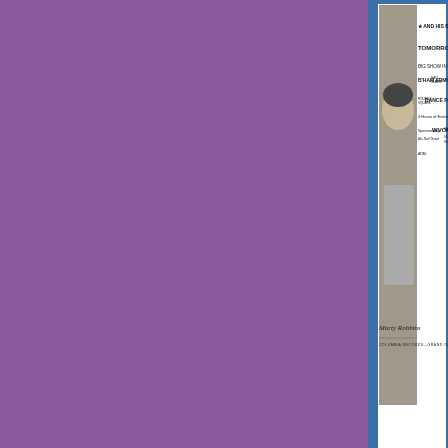[Figure (photo): Advertisement for Marty Robbins and his band show. Shows photo of Marty Robbins smiling, with text: AND HIS BAND, TOMORROW NIGHT, BIG SHOW IN PERSON, B'HAM NAT'L GUARD ARMORY, ROUND & SQUARE DANCE FOLLOWS, 4 Hours of Entertainment, Sponsored by Ala. Nat'l Guard WVOK 690 K 50,000 Watts, ADM. Columbia Records - Grand Ole Opry]
July 2, 1955-Marty Robbins and his ban
[Figure (photo): Advertisement showing In Person! Cowboy Copas and [rest cut off]. Shows man in cowboy hat smiling.]